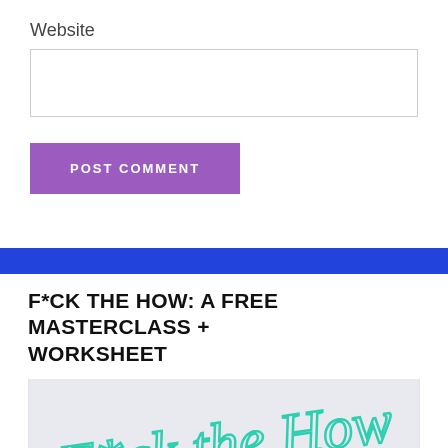Website
[Figure (screenshot): A form input field for Website URL, empty text box with border]
POST COMMENT
F*CK THE HOW: A FREE MASTERCLASS + WORKSHEET
[Figure (illustration): Stylized cursive handwriting text reading F*ck the How in teal/mint color on a light gray background with hands visible at the bottom]